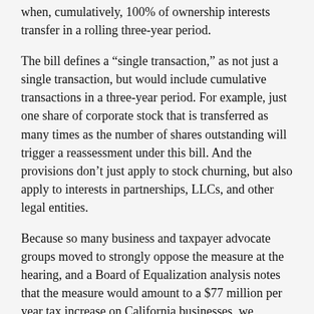when, cumulatively, 100% of ownership interests transfer in a rolling three-year period.
The bill defines a “single transaction,” as not just a single transaction, but would include cumulative transactions in a three-year period. For example, just one share of corporate stock that is transferred as many times as the number of shares outstanding will trigger a reassessment under this bill. And the provisions don’t just apply to stock churning, but also apply to interests in partnerships, LLCs, and other legal entities.
Because so many business and taxpayer advocate groups moved to strongly oppose the measure at the hearing, and a Board of Equalization analysis notes that the measure would amount to a $77 million per year tax increase on California businesses, we understand the measure may not be heard.
Although the bill seems to be stalled again, we will watch the proceedings closely and represent your interests should that change.